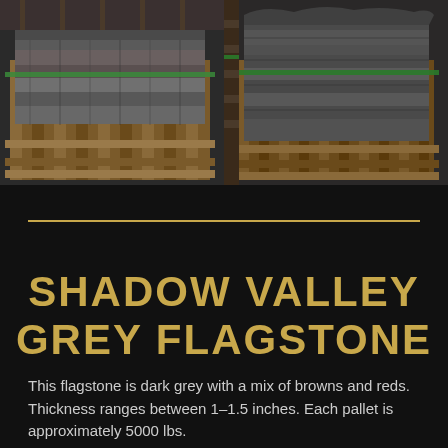[Figure (photo): Two photos side by side showing pallets of Shadow Valley Grey Flagstone stacked on wooden pallets with green strapping, in an outdoor yard setting.]
SHADOW VALLEY GREY FLAGSTONE
This flagstone is dark grey with a mix of browns and reds. Thickness ranges between 1–1.5 inches. Each pallet is approximately 5000 lbs.